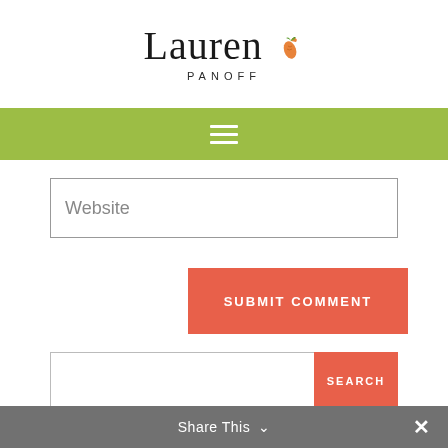[Figure (logo): Lauren Panoff script logo with carrot illustration and 'PANOFF' in spaced capitals beneath]
[Figure (infographic): Olive green navigation bar with three horizontal white lines (hamburger menu icon)]
Website
SUBMIT COMMENT
SEARCH
Share This